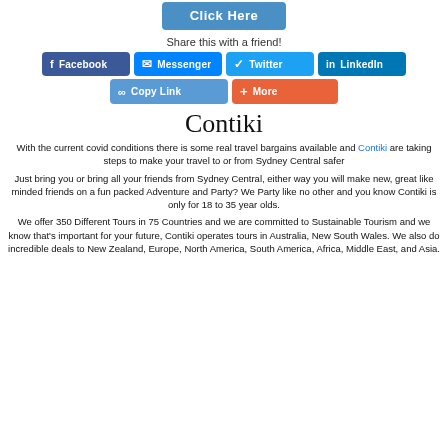[Figure (screenshot): Blue 'Click Here' button at top of page]
Share this with a friend!
[Figure (infographic): Social share buttons: Facebook, Messenger, Twitter, LinkedIn, Copy Link, More]
Contiki
With the current covid conditions there is some real travel bargains available and Contiki are taking steps to make your travel to or from Sydney Central safer
Just bring you or bring all your friends from Sydney Central, either way you will make new, great like minded friends on a fun packed Adventure and Party? We Party like no other and you know Contiki is only for 18 to 35 year olds.
We offer 350 Different Tours in 75 Countries and we are committed to Sustainable Tourism and we know that's important for your future, Contiki operates tours in Australia, New South Wales. We also do incredible deals to New Zealand, Europe, North America, South America, Africa, Middle East, and Asia.